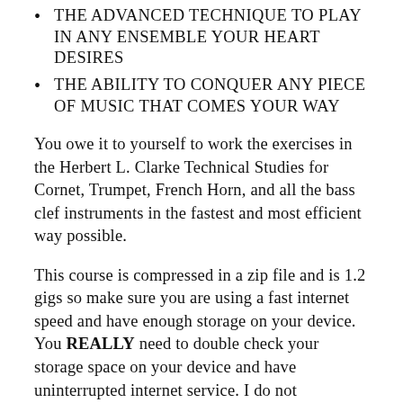THE ADVANCED TECHNIQUE TO PLAY IN ANY ENSEMBLE YOUR HEART DESIRES
THE ABILITY TO CONQUER ANY PIECE OF MUSIC THAT COMES YOUR WAY
You owe it to yourself to work the exercises in the Herbert L. Clarke Technical Studies for Cornet, Trumpet, French Horn, and all the bass clef instruments in the fastest and most efficient way possible.
This course is compressed in a zip file and is 1.2 gigs so make sure you are using a fast internet speed and have enough storage on your device. You REALLY need to double check your storage space on your device and have uninterrupted internet service. I do not recommend downloading this to a phone. It is much better to download first